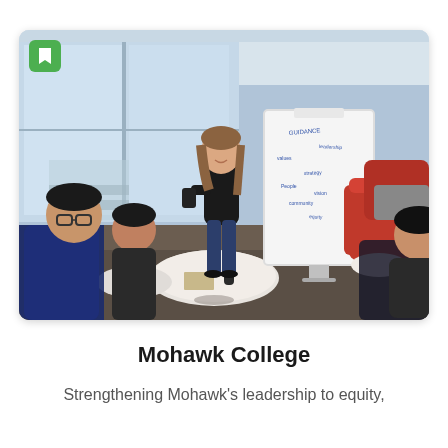[Figure (photo): A student stands at a whiteboard covered in handwritten notes, presenting to a small group of seated students in a modern college common area with large glass windows and red lounge chairs.]
Mohawk College
Strengthening Mohawk's leadership to equity,